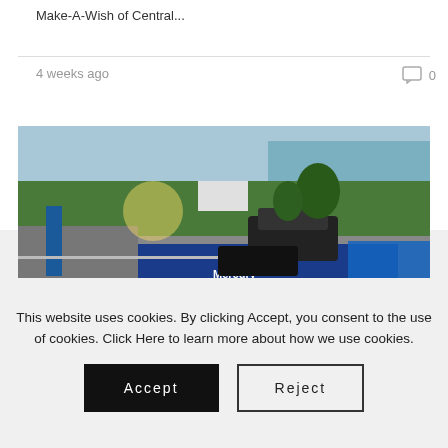Make-A-Wish of Central...
4 weeks ago
0
[Figure (photo): Aerial view of an outdoor event near a waterfront. A Mercury Racing branded blue truck/trailer is prominent in the foreground. People are walking on streets, there are tents and vehicles. A marina with boats is visible in the background along with green trees and sky.]
This website uses cookies. By clicking Accept, you consent to the use of cookies. Click Here to learn more about how we use cookies.
Accept
Reject